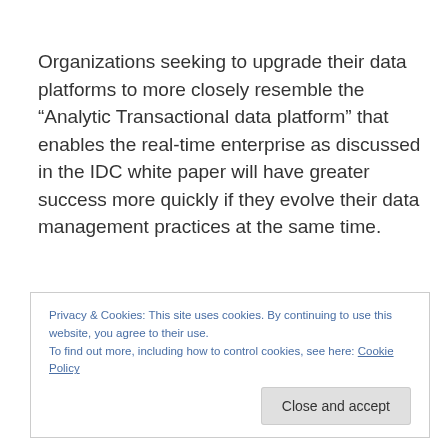Organizations seeking to upgrade their data platforms to more closely resemble the “Analytic Transactional data platform” that enables the real-time enterprise as discussed in the IDC white paper will have greater success more quickly if they evolve their data management practices at the same time.
Privacy & Cookies: This site uses cookies. By continuing to use this website, you agree to their use.
To find out more, including how to control cookies, see here: Cookie Policy